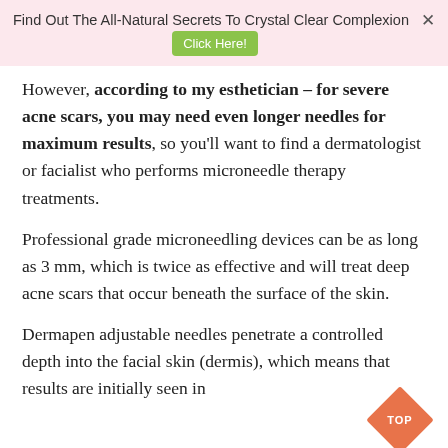Find Out The All-Natural Secrets To Crystal Clear Complexion  Click Here!
However, according to my esthetician – for severe acne scars, you may need even longer needles for maximum results, so you'll want to find a dermatologist or facialist who performs microneedle therapy treatments.
Professional grade microneedling devices can be as long as 3 mm, which is twice as effective and will treat deep acne scars that occur beneath the surface of the skin.
Dermapen adjustable needles penetrate a controlled depth into the facial skin (dermis), which means that results are initially seen in